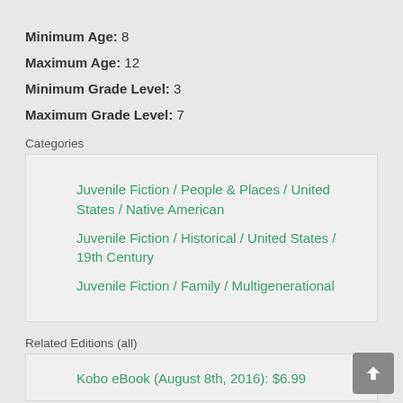Minimum Age: 8
Maximum Age: 12
Minimum Grade Level: 3
Maximum Grade Level: 7
Categories
Juvenile Fiction / People & Places / United States / Native American
Juvenile Fiction / Historical / United States / 19th Century
Juvenile Fiction / Family / Multigenerational
Related Editions (all)
Kobo eBook (August 8th, 2016): $6.99